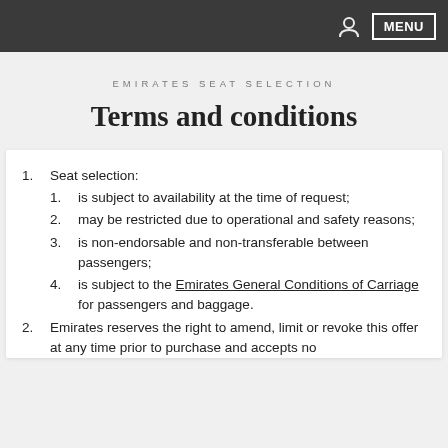MENU
EMIRATES SEAT SELECTION
Terms and conditions
Seat selection:
is subject to availability at the time of request;
may be restricted due to operational and safety reasons;
is non-endorsable and non-transferable between passengers;
is subject to the Emirates General Conditions of Carriage for passengers and baggage.
Emirates reserves the right to amend, limit or revoke this offer at any time prior to purchase and accepts no